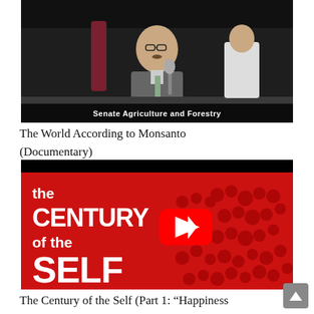[Figure (screenshot): Video thumbnail showing a man at a Senate Agriculture and Forestry hearing, seated behind a desk with a banner at the bottom reading 'Senate Agriculture and Forestry']
The World According to Monsanto (Documentary)
[Figure (screenshot): YouTube video thumbnail for 'The Century of the Self' showing red-tinted crowd background with white bold title text and a YouTube play button in the center]
The Century of the Self (Part 1: “Happiness Machines”)